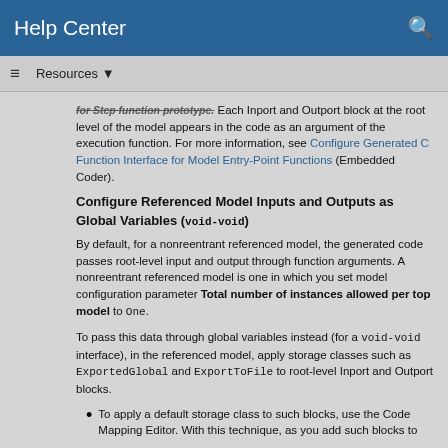Help Center
for Step function prototype. Each Inport and Outport block at the root level of the model appears in the code as an argument of the execution function. For more information, see Configure Generated C Function Interface for Model Entry-Point Functions (Embedded Coder).
Configure Referenced Model Inputs and Outputs as Global Variables (void-void)
By default, for a nonreentrant referenced model, the generated code passes root-level input and output through function arguments. A nonreentrant referenced model is one in which you set model configuration parameter Total number of instances allowed per top model to One.
To pass this data through global variables instead (for a void-void interface), in the referenced model, apply storage classes such as ExportedGlobal and ExportToFile to root-level Inport and Outport blocks.
To apply a default storage class to such blocks, use the Code Mapping Editor. With this technique, as you add such blocks to